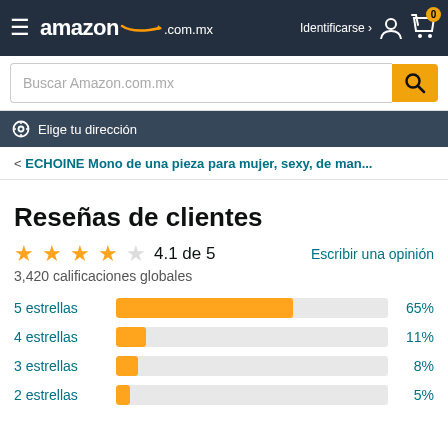amazon.com.mx — Identificarse — Cart 0
[Figure (screenshot): Amazon.com.mx search bar with placeholder 'Buscar Amazon.com.mx' and orange search button]
Elige tu dirección
< ECHOINE Mono de una pieza para mujer, sexy, de man...
Reseñas de clientes
4.1 de 5
3,420 calificaciones globales
Escribir una opinión
[Figure (bar-chart): Distribución de calificaciones]